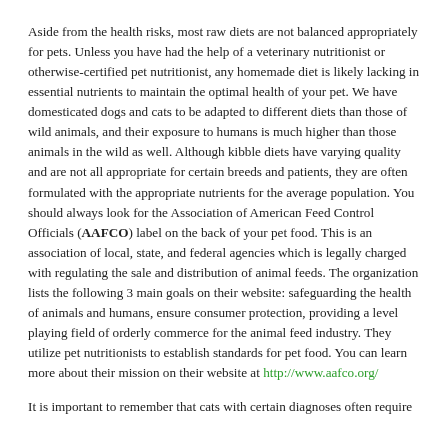Aside from the health risks, most raw diets are not balanced appropriately for pets. Unless you have had the help of a veterinary nutritionist or otherwise-certified pet nutritionist, any homemade diet is likely lacking in essential nutrients to maintain the optimal health of your pet. We have domesticated dogs and cats to be adapted to different diets than those of wild animals, and their exposure to humans is much higher than those animals in the wild as well. Although kibble diets have varying quality and are not all appropriate for certain breeds and patients, they are often formulated with the appropriate nutrients for the average population. You should always look for the Association of American Feed Control Officials (AAFCO) label on the back of your pet food. This is an association of local, state, and federal agencies which is legally charged with regulating the sale and distribution of animal feeds. The organization lists the following 3 main goals on their website: safeguarding the health of animals and humans, ensure consumer protection, providing a level playing field of orderly commerce for the animal feed industry. They utilize pet nutritionists to establish standards for pet food. You can learn more about their mission on their website at http://www.aafco.org/
It is important to remember that cats with certain diagnoses often require...